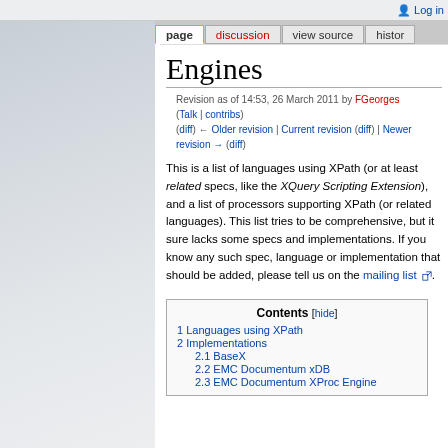Log in | page | discussion | view source | histor
Engines
Revision as of 14:53, 26 March 2011 by FGeorges (Talk | contribs)
(diff) ← Older revision | Current revision (diff) | Newer revision → (diff)
This is a list of languages using XPath (or at least related specs, like the XQuery Scripting Extension), and a list of processors supporting XPath (or related languages). This list tries to be comprehensive, but it sure lacks some specs and implementations. If you know any such spec, language or implementation that should be added, please tell us on the mailing list .
| Contents [hide] |
| --- |
| 1 Languages using XPath |
| 2 Implementations |
| 2.1 BaseX |
| 2.2 EMC Documentum xDB |
| 2.3 EMC Documentum XProc Engine |